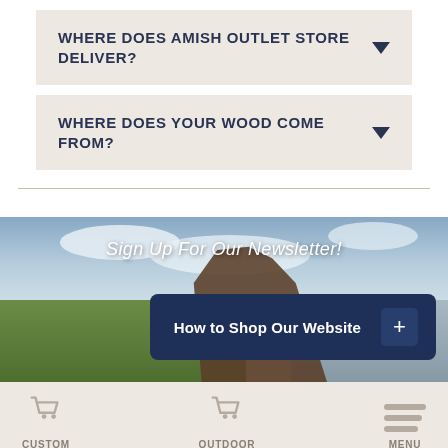WHERE DOES AMISH OUTLET STORE DELIVER?
WHERE DOES YOUR WOOD COME FROM?
[Figure (photo): Outdoor rural scene with horse and cart, green fields, blue sky with clouds. Overlaid text: 'Sign Up For Our Newsletter!' and a dark navy button 'How to Shop Our Website +']
Sign Up For Our Newsletter!
How to Shop Our Website +
CUSTOM QUOTE
OUTDOOR FURNITURE
MENU